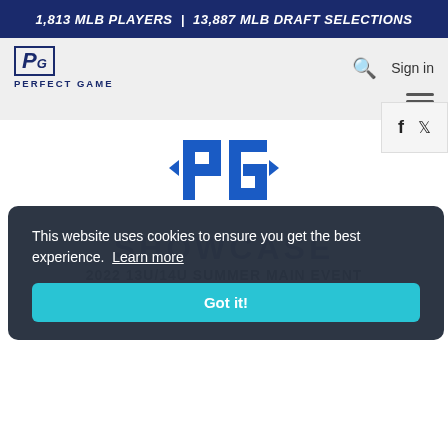1,813 MLB PLAYERS | 13,887 MLB DRAFT SELECTIONS
[Figure (logo): Perfect Game PG logo with text PERFECT GAME]
Sign in
[Figure (logo): Perfect Game centered PG shield/logo watermark in blue]
SHOWCASE
2022 13U/14U SUMMER MAIN EVENT
SHOWCASE (TUES-WED)
This website uses cookies to ensure you get the best experience. Learn more
Got it!